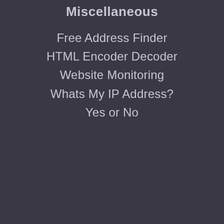Miscellaneous
Free Address Finder
HTML Encoder Decoder
Website Monitoring
Whats My IP Address?
Yes or No